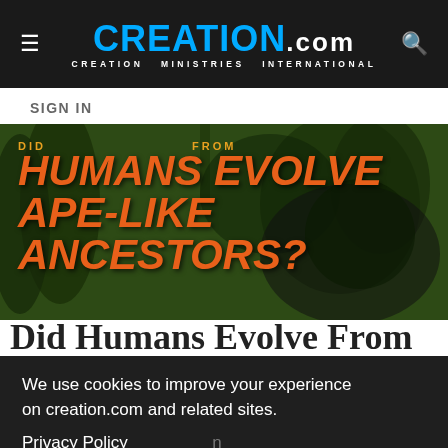CREATION.com — CREATION MINISTRIES INTERNATIONAL
SIGN IN
[Figure (illustration): Banner image with text: DID HUMANS EVOLVE FROM APE-LIKE ANCESTORS? overlaid on a forest/jungle background with an ape silhouette visible]
Did Humans Evolve From [Ape-Like Ancestors?]
We use cookies to improve your experience on creation.com and related sites.
Privacy Policy
Understood